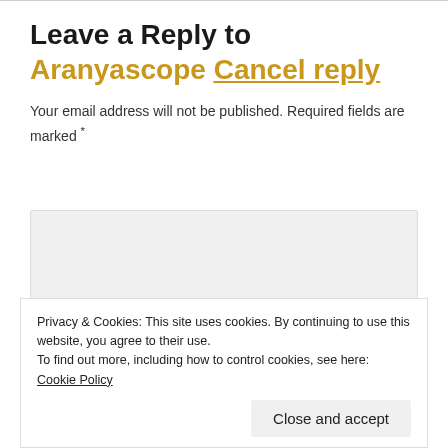Leave a Reply to Aranyascope Cancel reply
Your email address will not be published. Required fields are marked *
[Figure (other): Comment text area input box with light gray background]
Privacy & Cookies: This site uses cookies. By continuing to use this website, you agree to their use.
To find out more, including how to control cookies, see here: Cookie Policy
Close and accept